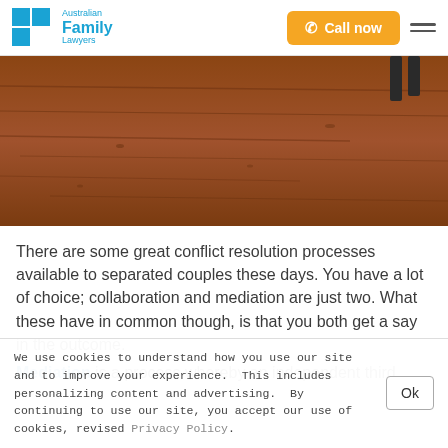Australian Family Lawyers — Call now
[Figure (photo): Close-up photo of dry reddish-brown earth/soil ground, with what appears to be the lower legs of a person visible in the top right corner.]
There are some great conflict resolution processes available to separated couples these days. You have a lot of choice; collaboration and mediation are just two. What these have in common though, is that you both get a say in the outcome.
Mediation is a process whereby an independent third
We use cookies to understand how you use our site and to improve your experience. This includes personalizing content and advertising. By continuing to use our site, you accept our use of cookies, revised Privacy Policy.